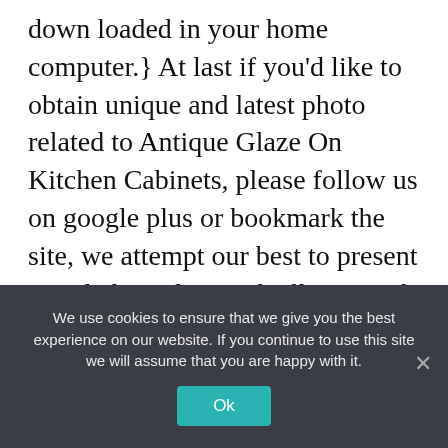down loaded in your home computer.} At last if you'd like to obtain unique and latest photo related to Antique Glaze On Kitchen Cabinets, please follow us on google plus or bookmark the site, we attempt our best to present you daily update with all new and fresh graphics. We do hope you enjoy keeping here. For many upgrades and recent news about Antique Glaze On Kitchen Cabinets shots, please kindly follow us on twitter, path, Instagram and google plus, or you mark this page on book mark section, We try to give
We use cookies to ensure that we give you the best experience on our website. If you continue to use this site we will assume that you are happy with it.